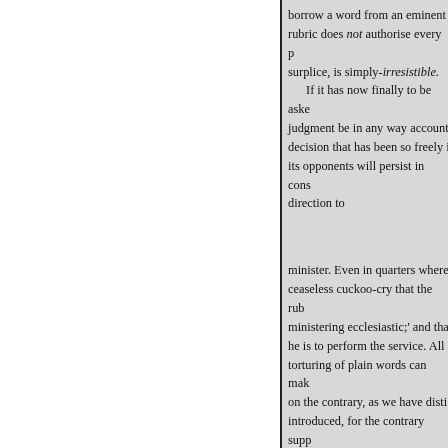borrow a word from an eminent rubric does not authorise every p surplice, is simply-irresistible. If it has now finally to be aske judgment be in any way account decision that has been so freely i its opponents will persist in cons direction to minister. Even in quarters where ceaseless cuckoo-cry that the rub ministering ecclesiastic;' and tha he is to perform the service. All torturing of plain words can mak on the contrary, as we have disti introduced, for the contrary supp ornaments rubric, both in its for ornaments of the church,' is as fa direction too that cancelled every It is our opponents who are guilt they are trying to fasten the char We sincerely wish all this had